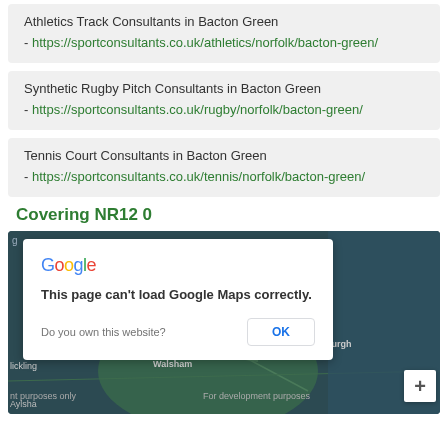Athletics Track Consultants in Bacton Green - https://sportconsultants.co.uk/athletics/norfolk/bacton-green/
Synthetic Rugby Pitch Consultants in Bacton Green - https://sportconsultants.co.uk/rugby/norfolk/bacton-green/
Tennis Court Consultants in Bacton Green - https://sportconsultants.co.uk/tennis/norfolk/bacton-green/
Covering NR12 0
[Figure (screenshot): Google Maps embed showing a dialog: 'This page can't load Google Maps correctly.' with OK button, and a map of Norfolk area showing North Walsham, Happisburgh, and surrounding areas with 'For development purposes only' watermark.]